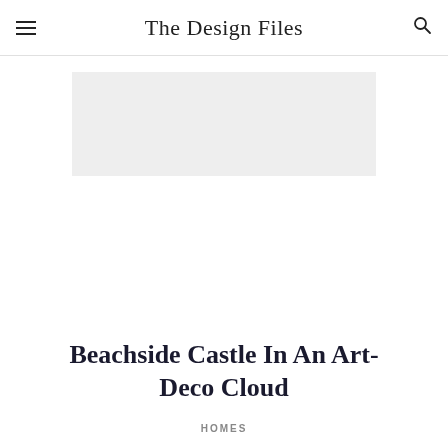The Design Files
[Figure (other): Grey rectangular advertisement placeholder banner]
Beachside Castle In An Art-Deco Cloud
HOMES